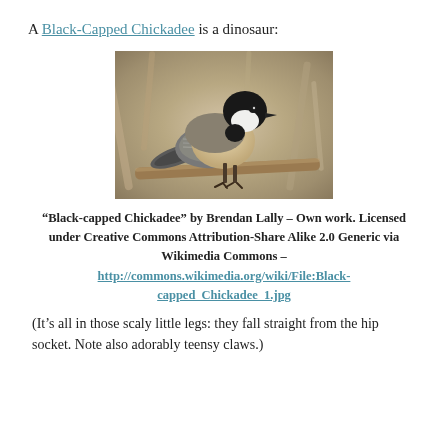A Black-Capped Chickadee is a dinosaur:
[Figure (photo): A Black-Capped Chickadee bird perched on a branch, showing its distinctive black cap, white cheeks, grey wings and buffy sides. Photo by Brendan Lally.]
“Black-capped Chickadee” by Brendan Lally – Own work. Licensed under Creative Commons Attribution-Share Alike 2.0 Generic via Wikimedia Commons – http://commons.wikimedia.org/wiki/File:Black-capped_Chickadee_1.jpg
(It’s all in those scaly little legs: they fall straight from the hip socket. Note also adorably teensy claws.)